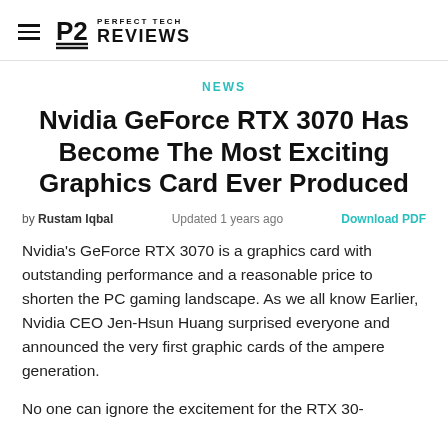Perfect Tech Reviews
NEWS
Nvidia GeForce RTX 3070 Has Become The Most Exciting Graphics Card Ever Produced
by Rustam Iqbal   Updated 1 years ago   Download PDF
Nvidia's GeForce RTX 3070 is a graphics card with outstanding performance and a reasonable price to shorten the PC gaming landscape. As we all know Earlier, Nvidia CEO Jen-Hsun Huang surprised everyone and announced the very first graphic cards of the ampere generation.
No one can ignore the excitement for the RTX 30-